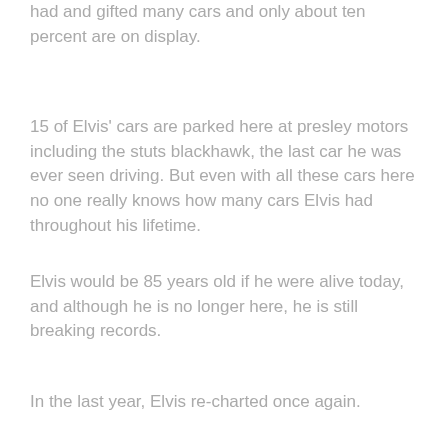had and gifted many cars and only about ten percent are on display.
15 of Elvis' cars are parked here at presley motors including the stuts blackhawk, the last car he was ever seen driving. But even with all these cars here no one really knows how many cars Elvis had throughout his lifetime.
Elvis would be 85 years old if he were alive today, and although he is no longer here, he is still breaking records.
In the last year, Elvis re-charted once again.